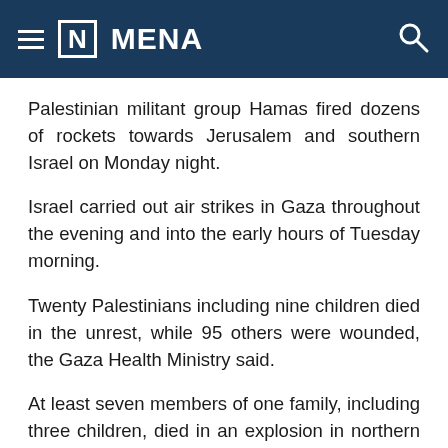≡ [N] MENA
Palestinian militant group Hamas fired dozens of rockets towards Jerusalem and southern Israel on Monday night.
Israel carried out air strikes in Gaza throughout the evening and into the early hours of Tuesday morning.
Twenty Palestinians including nine children died in the unrest, while 95 others were wounded, the Gaza Health Ministry said.
At least seven members of one family, including three children, died in an explosion in northern Gaza.